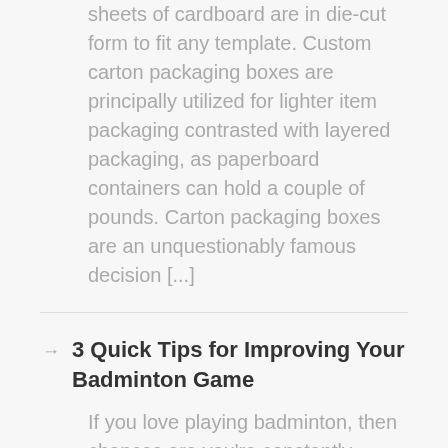sheets of cardboard are in die-cut form to fit any template. Custom carton packaging boxes are principally utilized for lighter item packaging contrasted with layered packaging, as paperboard containers can hold a couple of pounds. Carton packaging boxes are an unquestionably famous decision [...]
3 Quick Tips for Improving Your Badminton Game
If you love playing badminton, then chances are you’re constantly looking for ways to take your game to the next level. Whether you play competitively, or just socially, there are 3 quick tips that can help you improve your game. First and